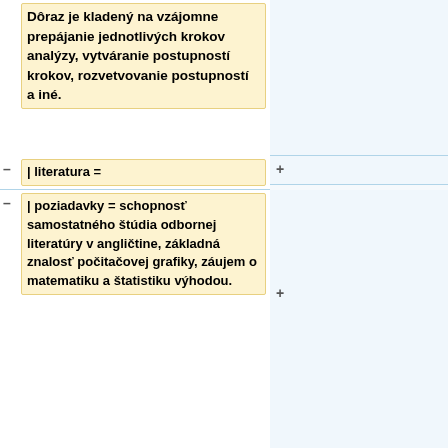Dôraz je kladený na vzájomne prepájanie jednotlivých krokov analýzy, vytváranie postupností krokov, rozvetvovanie postupností a iné.
| literatura =
| poziadavky = schopnosť samostatného štúdia odbornej literatúry v angličtine, základná znalosť počitačovej grafiky, záujem o matematiku a štatistiku výhodou.
| odporucania =
}}
=== [[Milos Sramek|Miloš Šrámek]] ===